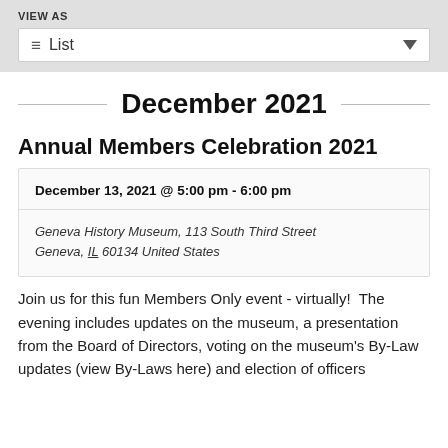VIEW AS
List
December 2021
Annual Members Celebration 2021
December 13, 2021 @ 5:00 pm - 6:00 pm
Geneva History Museum, 113 South Third Street Geneva, IL 60134 United States
Join us for this fun Members Only event - virtually!  The evening includes updates on the museum, a presentation from the Board of Directors, voting on the museum's By-Law updates (view By-Laws here) and election of officers